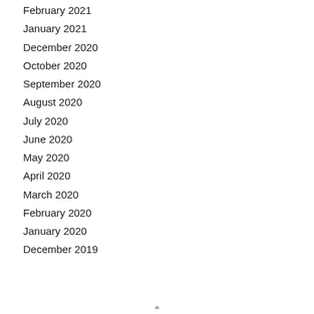February 2021
January 2021
December 2020
October 2020
September 2020
August 2020
July 2020
June 2020
May 2020
April 2020
March 2020
February 2020
January 2020
December 2019
»